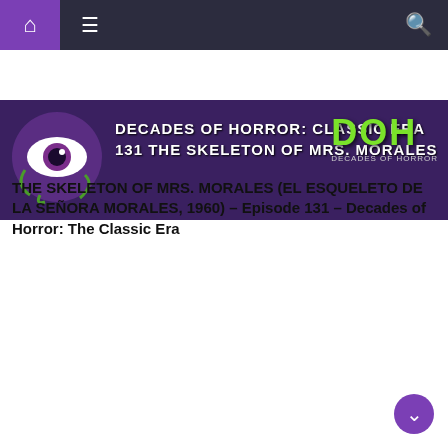Navigation bar with home, menu, and search icons
[Figure (screenshot): Decades of Horror: Classic Era podcast banner with purple eyeball mascot logo, text reading 'DECADES OF HORROR: CLASSIC ERA 131 THE SKELETON OF MRS. MORALES' and green DOH logo on the right]
THE SKELETON OF MRS. MORALES (EL ESQUELETO DE LA SEÑORA MORALES, 1960) – Episode 131 – Decades of Horror: The Classic Era
[Figure (photo): Movie promotional image with tagline 'THE END OF THE LINE IS JUST THE BEGINNING' showing multiple characters including Brad Pitt in foreground, with Brad Pitt credit text at bottom left]